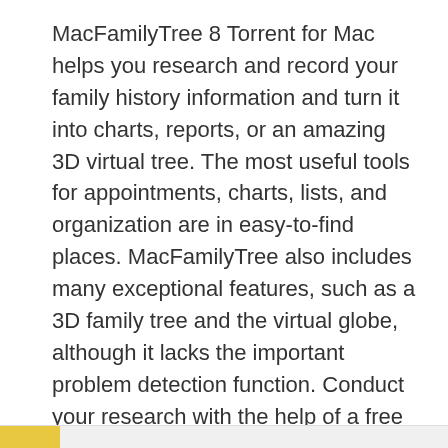MacFamilyTree 8 Torrent for Mac helps you research and record your family history information and turn it into charts, reports, or an amazing 3D virtual tree. The most useful tools for appointments, charts, lists, and organization are in easy-to-find places. MacFamilyTree also includes many exceptional features, such as a 3D family tree and the virtual globe, although it lacks the important problem detection function. Conduct your research with the help of a free online genealogy archive with billions of records, create websites. Do research on the go with MobileFamilyTree for iPhone, iPad, and iPod touch. MacFamilyTree also lets you create family books in an instant – share them as PDFs or print them and give them as gifts.